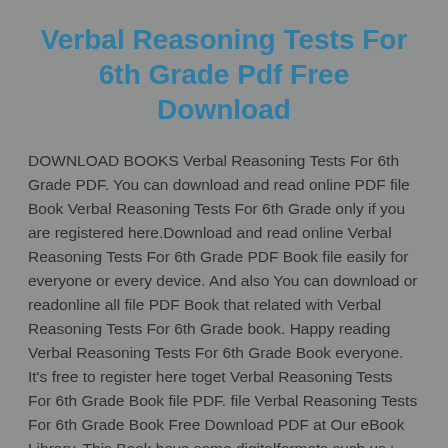Verbal Reasoning Tests For 6th Grade Pdf Free Download
DOWNLOAD BOOKS Verbal Reasoning Tests For 6th Grade PDF. You can download and read online PDF file Book Verbal Reasoning Tests For 6th Grade only if you are registered here.Download and read online Verbal Reasoning Tests For 6th Grade PDF Book file easily for everyone or every device. And also You can download or readonline all file PDF Book that related with Verbal Reasoning Tests For 6th Grade book. Happy reading Verbal Reasoning Tests For 6th Grade Book everyone. It's free to register here toget Verbal Reasoning Tests For 6th Grade Book file PDF. file Verbal Reasoning Tests For 6th Grade Book Free Download PDF at Our eBook Library. This Book have some digitalformats such us : kindle, epub, ebook, paperbook, and another formats. Here is The Complete PDF Library